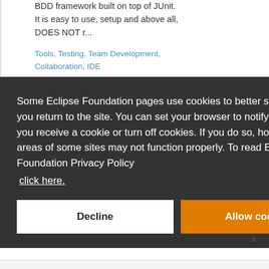BDD framework built on top of JUnit. It is easy to use, setup and above all, DOES NOT r...
Tools, Testing, Team Development, Collaboration, IDE
Some Eclipse Foundation pages use cookies to better serve you when you return to the site. You can set your browser to notify you before you receive a cookie or turn off cookies. If you do so, however, some areas of some sites may not function properly. To read Eclipse Foundation Privacy Policy click here.
Decline
Allow cookies